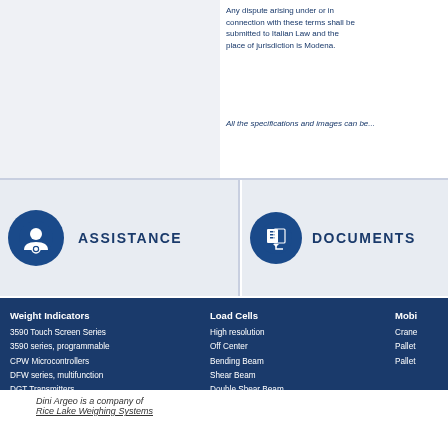Any dispute arising under or in connection with these terms shall be submitted to Italian Law and the place of jurisdiction is Modena.
All the specifications and images can be...
ASSISTANCE
DOCUMENTS
Weight Indicators
3590 Touch Screen Series
3590 series, programmable
CPW Microcontrollers
DFW series, multifunction
DGT Transmitters
Repeaters
Self service systems
Printers / Labellers
Interfaces / Accessories
PC Software
Load Cells
High resolution
Off Center
Bending Beam
Shear Beam
Double Shear Beam
Compression
Tension
Column, for Weighbridges
Assembly kit
Kit for assembling weighbridges
Junction boxes
Mobi...
Crane...
Pallet...
Pallet...
Dini Argeo is a company of
Rice Lake Weighing Systems